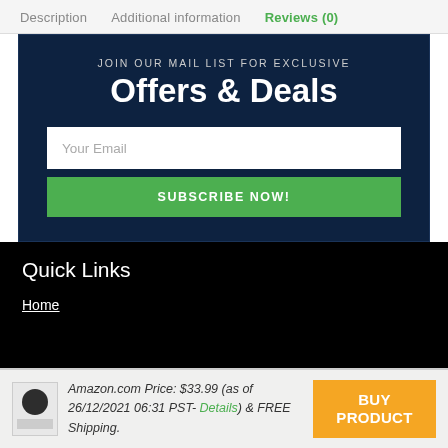Description   Additional information   Reviews (0)
JOIN OUR MAIL LIST FOR EXCLUSIVE
Offers & Deals
Your Email
SUBSCRIBE NOW!
Quick Links
Home
Amazon.com Price: $33.99 (as of 26/12/2021 06:31 PST- Details) & FREE Shipping.
BUY PRODUCT